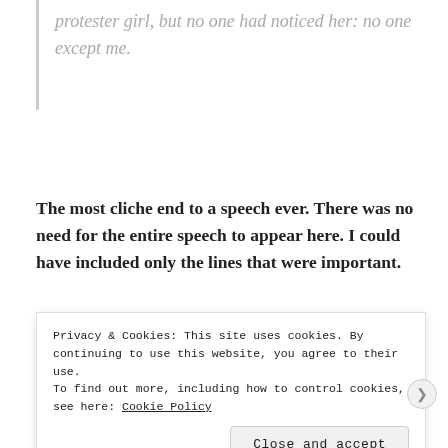protester girl, but no one had noticed her: no one except me.
The most cliche end to a speech ever. There was no need for the entire speech to appear here. I could have included only the lines that were important.
I should mention that Sharon is the girl-on-the-stairs
Privacy & Cookies: This site uses cookies. By continuing to use this website, you agree to their use.
To find out more, including how to control cookies, see here: Cookie Policy
Close and accept